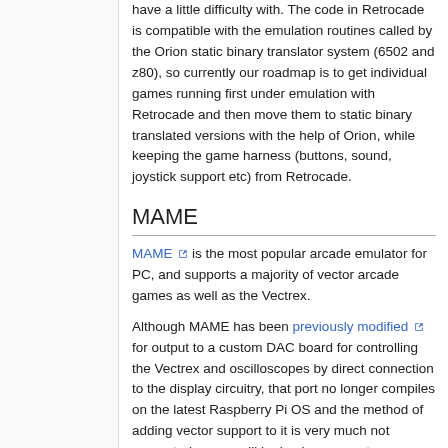have a little difficulty with. The code in Retrocade is compatible with the emulation routines called by the Orion static binary translator system (6502 and z80), so currently our roadmap is to get individual games running first under emulation with Retrocade and then move them to static binary translated versions with the help of Orion, while keeping the game harness (buttons, sound, joystick support etc) from Retrocade.
MAME
MAME is the most popular arcade emulator for PC, and supports a majority of vector arcade games as well as the Vectrex.
Although MAME has been previously modified for output to a custom DAC board for controlling the Vectrex and oscilloscopes by direct connection to the display circuitry, that port no longer compiles on the latest Raspberry Pi OS and the method of adding vector support to it is very much not supported, so we will be basing our port on AdvanceMAME (3.8) which is the last version of MAME to include semi-supported hooks for vector